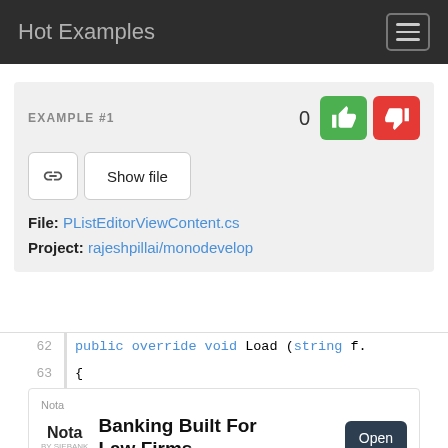Hot Examples
EXAMPLE #1
File: PListEditorViewContent.cs
Project: rajeshpillai/monodevelop
62  public override void Load (string f.
63  {
64      ContentName = fileName;
[Figure (screenshot): Nota banking advertisement banner: 'Banking Built For Law Firms' with Open button]